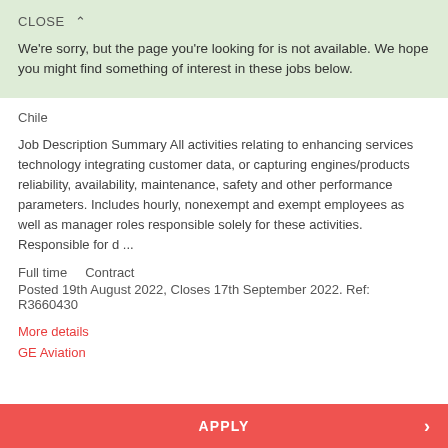CLOSE ∧
We're sorry, but the page you're looking for is not available. We hope you might find something of interest in these jobs below.
Chile
Job Description Summary All activities relating to enhancing services technology integrating customer data, or capturing engines/products reliability, availability, maintenance, safety and other performance parameters. Includes hourly, nonexempt and exempt employees as well as manager roles responsible solely for these activities. Responsible for d ...
Full time    Contract
Posted 19th August 2022, Closes 17th September 2022. Ref: R3660430
More details
GE Aviation